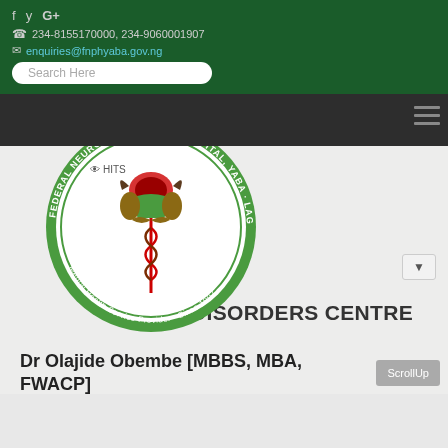f  y  G+  | 234-8155170000, 234-9060001907 | enquiries@fnphyaba.gov.ng | Search Here
[Figure (logo): Federal Neuro-Psychiatric Hospital, Yaba Lagos circular seal logo with medical caduceus symbol and eagle emblem. Text reads: FEDERAL NEURO-PSYCHIATRIC HOSPITAL, YABA · LAGOS · Mental Health Service Provider · Since 1907]
SLEEP DISORDERS CENTRE
Dr Olajide Obembe [MBBS, MBA, FWACP]